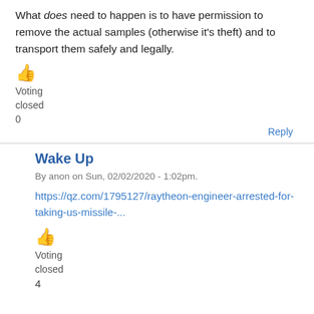What does need to happen is to have permission to remove the actual samples (otherwise it's theft) and to transport them safely and legally.
[Figure (illustration): Thumbs up emoji icon in orange/yellow color]
Voting
closed
0
Reply
Wake Up
By anon on Sun, 02/02/2020 - 1:02pm.
https://qz.com/1795127/raytheon-engineer-arrested-for-taking-us-missile-...
[Figure (illustration): Thumbs up emoji icon in orange/yellow color]
Voting
closed
4